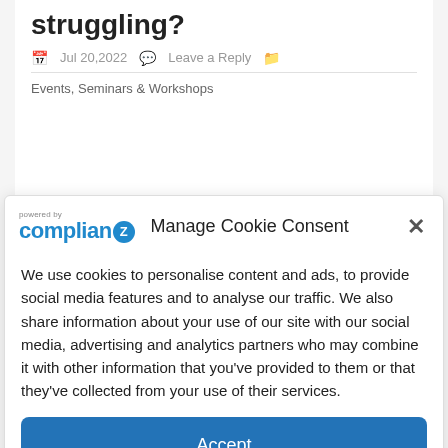struggling?
Jul 20,2022   Leave a Reply   Events, Seminars & Workshops
[Figure (logo): Complianz logo with 'powered by' text above and a blue circular Z icon]
Manage Cookie Consent
We use cookies to personalise content and ads, to provide social media features and to analyse our traffic. We also share information about your use of our site with our social media, advertising and analytics partners who may combine it with other information that you've provided to them or that they've collected from your use of their services.
Accept
Deny
Privacy Policy